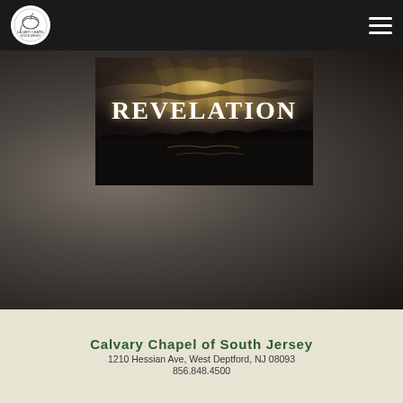[Figure (logo): Calvary Chapel circular logo in white circle on dark nav bar]
[Figure (photo): Background blurred dark landscape with stormy sky and water. A rectangular image in the center shows dramatic sky with light rays breaking through clouds over a dark silhouetted landscape, with the word REVELATION in large white serif letters overlaid on it.]
Calvary Chapel of South Jersey
1210 Hessian Ave, West Deptford, NJ 08093
856.848.4500